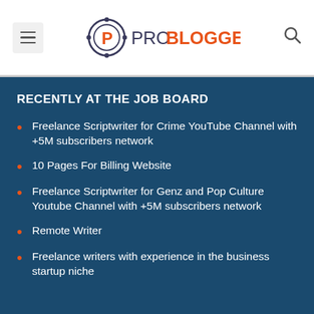ProBlogger
RECENTLY AT THE JOB BOARD
Freelance Scriptwriter for Crime YouTube Channel with +5M subscribers network
10 Pages For Billing Website
Freelance Scriptwriter for Genz and Pop Culture Youtube Channel with +5M subscribers network
Remote Writer
Freelance writers with experience in the business startup niche